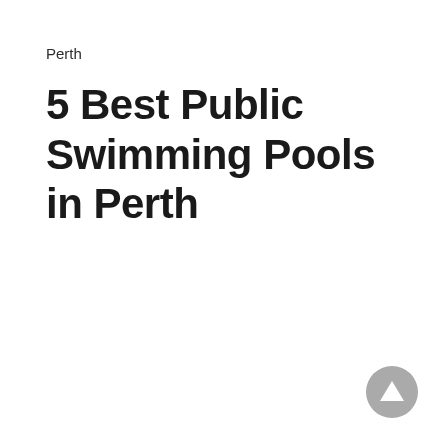Perth
5 Best Public Swimming Pools in Perth
[Figure (other): A circular grey button with a white upward-pointing triangle (back-to-top arrow icon) in the bottom-right corner of the page.]